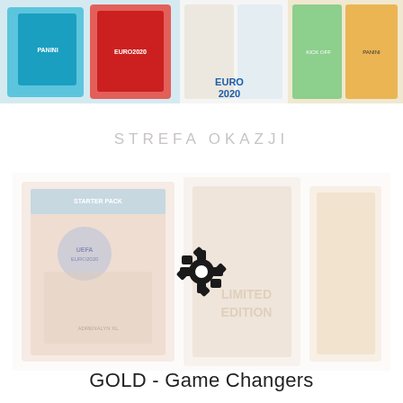[Figure (photo): Top banner strip showing multiple Euro 2020 Panini trading card product boxes and packages, including starter packs and booster boxes with 'EURO2020' and '2021 KICK OFF' branding in colorful packaging.]
STREFA OKAZJI
[Figure (photo): Large faded/washed-out product image showing Euro 2020 Panini Adrenalyn XL trading card game packages including starter packs and LIMITED EDITION boxes, with a gear/settings icon overlay in the center.]
GOLD - Game Changers